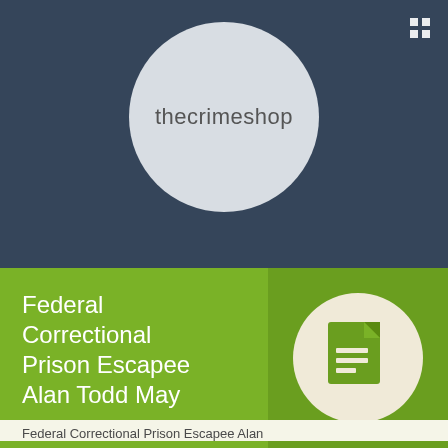[Figure (logo): thecrimeshop logo in a light grey circle on dark blue background]
Federal Correctional Prison Escapee Alan Todd May
[Figure (illustration): Document/article icon in a cream circle on darker green background]
Federal Correctional Prison Escapee Alan